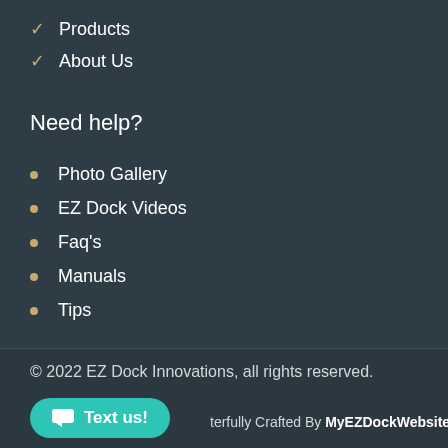✓ Products
✓ About Us
Need help?
• Photo Gallery
• EZ Dock Videos
• Faq's
• Manuals
• Tips
© 2022 EZ Dock Innovations, all rights reserved.
Text us!
terfully Crafted By MyEZDockWebsite.com